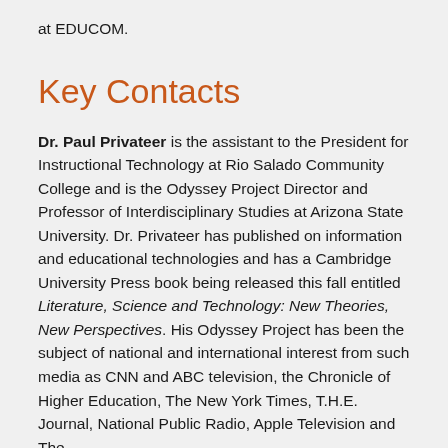at EDUCOM.
Key Contacts
Dr. Paul Privateer is the assistant to the President for Instructional Technology at Rio Salado Community College and is the Odyssey Project Director and Professor of Interdisciplinary Studies at Arizona State University. Dr. Privateer has published on information and educational technologies and has a Cambridge University Press book being released this fall entitled Literature, Science and Technology: New Theories, New Perspectives. His Odyssey Project has been the subject of national and international interest from such media as CNN and ABC television, the Chronicle of Higher Education, The New York Times, T.H.E. Journal, National Public Radio, Apple Television and The